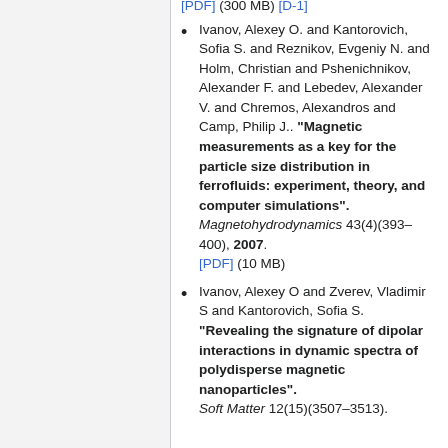[PDF] (300 MB) [D-1] (partial, top of page)
Ivanov, Alexey O. and Kantorovich, Sofia S. and Reznikov, Evgeniy N. and Holm, Christian and Pshenichnikov, Alexander F. and Lebedev, Alexander V. and Chremos, Alexandros and Camp, Philip J.. "Magnetic measurements as a key for the particle size distribution in ferrofluids: experiment, theory, and computer simulations". Magnetohydrodynamics 43(4)(393–400), 2007. [PDF] (10 MB)
Ivanov, Alexey O and Zverev, Vladimir S and Kantorovich, Sofia S. "Revealing the signature of dipolar interactions in dynamic spectra of polydisperse magnetic nanoparticles". Soft Matter 12(15)(3507–3513).